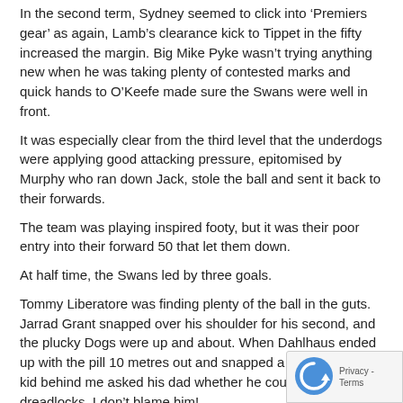In the second term, Sydney seemed to click into ‘Premiers gear’ as again, Lamb’s clearance kick to Tippet in the fifty increased the margin. Big Mike Pyke wasn’t trying anything new when he was taking plenty of contested marks and quick hands to O’Keefe made sure the Swans were well in front.
It was especially clear from the third level that the underdogs were applying good attacking pressure, epitomised by Murphy who ran down Jack, stole the ball and sent it back to their forwards.
The team was playing inspired footy, but it was their poor entry into their forward 50 that let them down.
At half time, the Swans led by three goals.
Tommy Liberatore was finding plenty of the ball in the guts. Jarrad Grant snapped over his shoulder for his second, and the plucky Dogs were up and about. When Dahlhaus ended up with the pill 10 metres out and snapped a goal, the young kid behind me asked his dad whether he could grow hair into dreadlocks. I don’t blame him!
There was a real fight about the Dogs, in a week of upsets, would Sydney be the third casualty?
Thankfully, they weren’t done for yet. With slick ball movement and accuracy, Shaw ran out of the backline and gave to Pyke who relea... Parker, who teed up Tippet 25m in front. That kind of team movement you